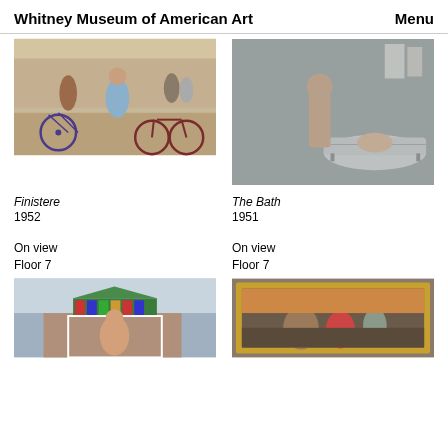Whitney Museum of American Art   Menu
[Figure (photo): Painting of people with bicycles on a street scene, French setting]
[Figure (photo): Painting of a man and child in a bathroom with a bathtub]
Finistere
1952
The Bath
1951
On view
Floor 7
On view
Floor 7
[Figure (photo): Sculpture or painting of a woman on a decorative gazebo or porch structure with colorful roof]
[Figure (photo): Painting in ornate gold frame depicting figures in a dramatic scene, possibly historical or mythological]